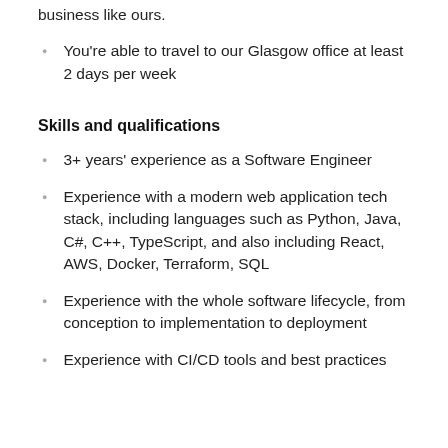business like ours.
You're able to travel to our Glasgow office at least 2 days per week
Skills and qualifications
3+ years' experience as a Software Engineer
Experience with a modern web application tech stack, including languages such as Python, Java, C#, C++, TypeScript, and also including React, AWS, Docker, Terraform, SQL
Experience with the whole software lifecycle, from conception to implementation to deployment
Experience with CI/CD tools and best practices